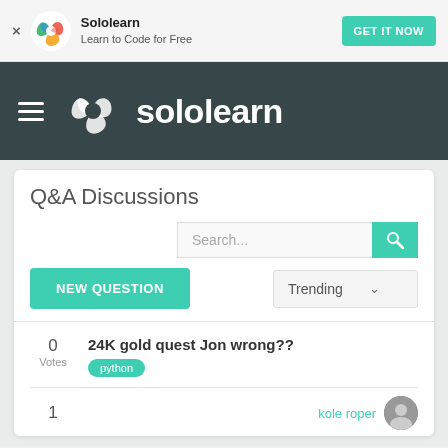[Figure (logo): Sololearn colorful spiral logo in ad banner]
Sololearn
Learn to Code for Free
GET IT NOW
[Figure (logo): Sololearn white spiral logo in navigation bar]
sololearn
Q&A Discussions
Search...
NEW QUESTION
Trending
0
Votes
24K gold quest Jon wrong??
python
1
kole roper